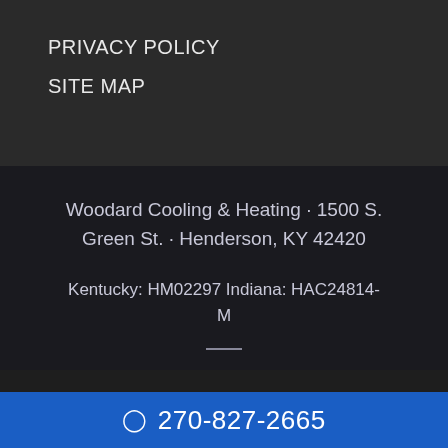PRIVACY POLICY
SITE MAP
Woodard Cooling & Heating · 1500 S. Green St. · Henderson, KY 42420
Kentucky: HM02297 Indiana: HAC24814-M
270-827-2665